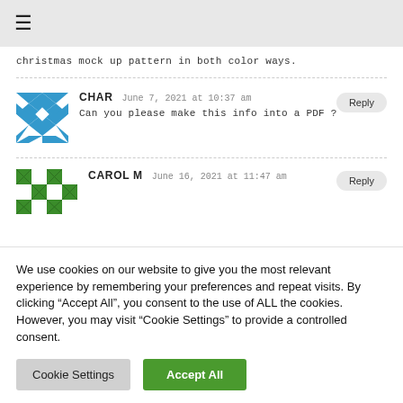≡
christmas mock up pattern in both color ways.
CHAR   June 7, 2021 at 10:37 am   Reply
Can you please make this info into a PDF ?
CAROL M   June 16, 2021 at 11:47 am   Reply
We use cookies on our website to give you the most relevant experience by remembering your preferences and repeat visits. By clicking "Accept All", you consent to the use of ALL the cookies. However, you may visit "Cookie Settings" to provide a controlled consent.